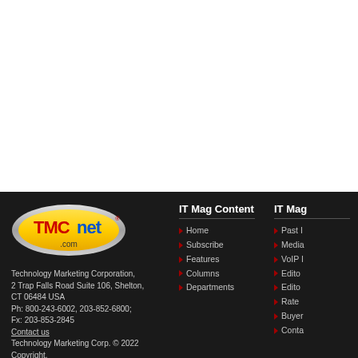[Figure (logo): TMCnet.com logo — oval yellow background with metallic silver border, red TMC text, blue net text, .com below]
Technology Marketing Corporation,
2 Trap Falls Road Suite 106, Shelton, CT 06484 USA
Ph: 800-243-6002, 203-852-6800;
Fx: 203-853-2845
Contact us
Technology Marketing Corp. © 2022 Copyright.
IT Mag Content
Home
Subscribe
Features
Columns
Departments
IT Mag
Past I...
Media...
VoIP ...
Editor...
Editor...
Rate ...
Buyer...
Conta...